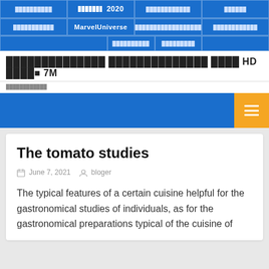Navigation menu with items including MarvelUniverse and 2020
???????????????????????? ?????????????????????????????? ???????? HD ????????? 7M
????????????????
[Figure (other): Blue navigation strip with orange hamburger menu button]
The tomato studies
June 7, 2021   bloger
The typical features of a certain cuisine helpful for the gastronomical studies of individuals, as for the gastronomical preparations typical of the cuisine of